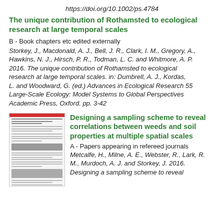https://doi.org/10.1002/ps.4784
The unique contribution of Rothamsted to ecological research at large temporal scales
B - Book chapters etc edited externally
Storkey, J., Macdonald, A. J., Bell, J. R., Clark, I. M., Gregory, A., Hawkins, N. J., Hirsch, P. R., Todman, L. C. and Whitmore, A. P. 2016. The unique contribution of Rothamsted to ecological research at large temporal scales. in: Dumbrell, A. J., Kordas, L. and Woodward, G. (ed.) Advances in Ecological Research 55 Large-Scale Ecology: Model Systems to Global Perspectives Academic Press, Oxford. pp. 3-42
[Figure (other): Thumbnail image of a journal article page with red header bar and text columns]
Designing a sampling scheme to reveal correlations between weeds and soil properties at multiple spatial scales
A - Papers appearing in refereed journals
Metcalfe, H., Milne, A. E., Webster, R., Lark, R. M., Murdoch, A. J. and Storkey, J. 2016. Designing a sampling scheme to reveal